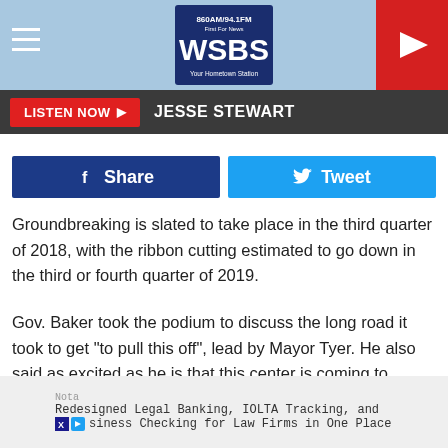[Figure (logo): WSBS 860AM/94.1FM radio station header with logo, hamburger menu icon, and red play button]
LISTEN NOW ▶   JESSE STEWART
[Figure (infographic): Facebook Share button (blue) and Twitter Tweet button (light blue) social sharing buttons]
Groundbreaking is slated to take place in the third quarter of 2018, with the ribbon cutting estimated to go down in the third or fourth quarter of 2019.
Gov. Baker took the podium to discuss the long road it took to get "to pull this off", lead by Mayor Tyer. He also said as excited as he is that this center is coming to fruition, he is even more excited for the future opening, which will increase jobs in the City of Pittsfield.
Nota
Redesigned Legal Banking, IOLTA Tracking, and Business Checking for Law Firms in One Place